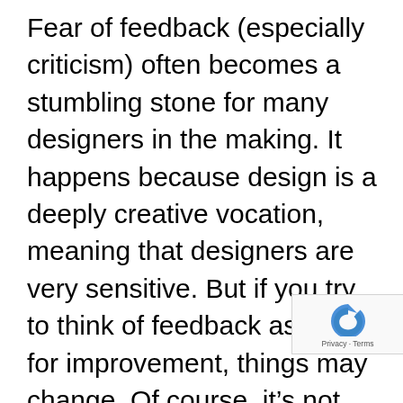Fear of feedback (especially criticism) often becomes a stumbling stone for many designers in the making. It happens because design is a deeply creative vocation, meaning that designers are very sensitive. But if you try to think of feedback as fuel for improvement, things may change. Of course, it’s not necessary to follow every commentator’s opinion and adapt your creative style to their liking. But staying alert to people’s opinions can indeed become valuable your professional progress